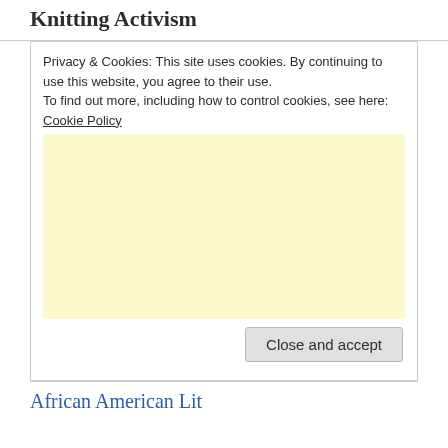Knitting Activism
Privacy & Cookies: This site uses cookies. By continuing to use this website, you agree to their use.
To find out more, including how to control cookies, see here: Cookie Policy
[Figure (other): Yellow/cream colored advertisement block placeholder]
Close and accept
African American Lit